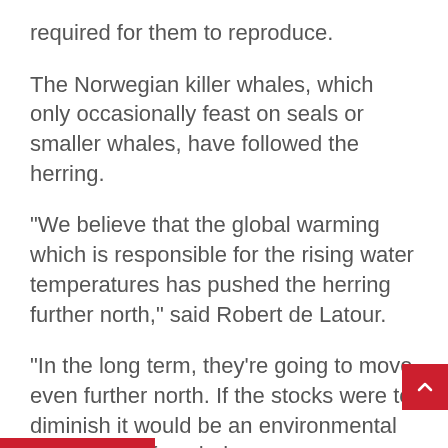required for them to reproduce.
The Norwegian killer whales, which only occasionally feast on seals or smaller whales, have followed the herring.
“We believe that the global warming which is responsible for the rising water temperatures has pushed the herring further north,” said Robert de Latour.
“In the long term, they’re going to move even further north. If the stocks were to diminish it would be an environmental catastrophe for whales, orcas, sea birds and cod,” he warns.